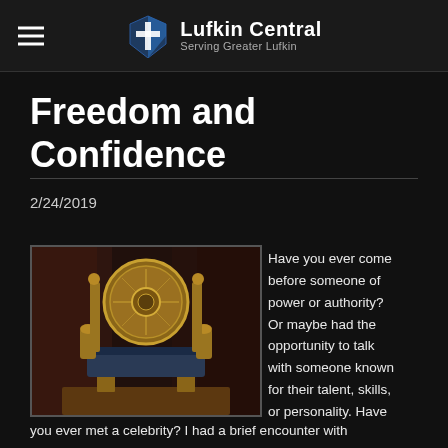Lufkin Central — Serving Greater Lufkin
Freedom and Confidence
2/24/2019
[Figure (photo): An ornate golden throne chair with a circular decorative backrest, set against a dark reddish-brown curtained background on a wooden platform.]
Have you ever come before someone of power or authority? Or maybe had the opportunity to talk with someone known for their talent, skills, or personality. Have you ever met a celebrity? I had a brief encounter with